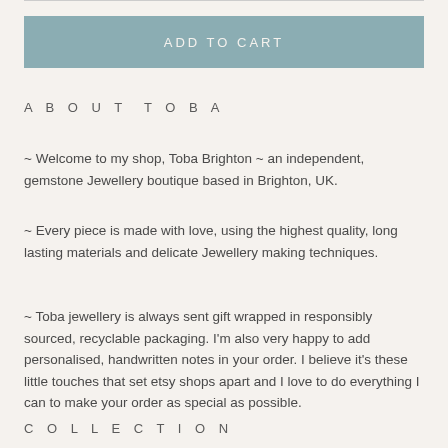[Figure (other): Add to Cart button with muted teal/blue-grey background]
ABOUT TOBA
~ Welcome to my shop, Toba Brighton ~ an independent, gemstone Jewellery boutique based in Brighton, UK.
~ Every piece is made with love, using the highest quality, long lasting materials and delicate Jewellery making techniques.
~ Toba jewellery is always sent gift wrapped in responsibly sourced, recyclable packaging. I'm also very happy to add personalised, handwritten notes in your order. I believe it's these little touches that set etsy shops apart and I love to do everything I can to make your order as special as possible.
COLLECTION